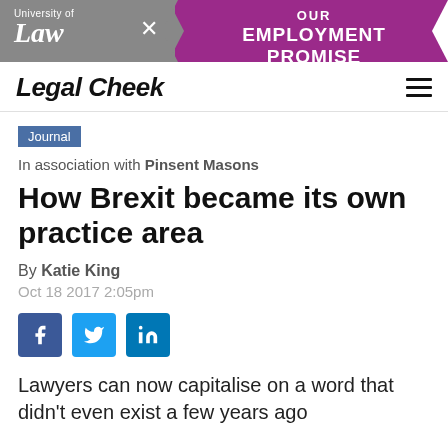[Figure (infographic): University of Law banner advertisement with purple diamond shape and text 'OUR EMPLOYMENT PROMISE']
Legal Cheek
Journal
In association with Pinsent Masons
How Brexit became its own practice area
By Katie King
Oct 18 2017 2:05pm
[Figure (infographic): Social sharing buttons for Facebook, Twitter, and LinkedIn]
Lawyers can now capitalise on a word that didn't even exist a few years ago